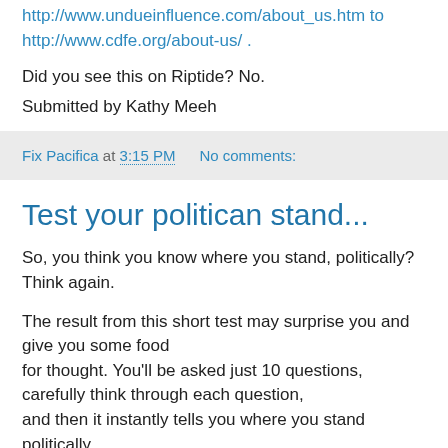http://www.undueinfluence.com/about_us.htm to http://www.cdfe.org/about-us/ .
Did you see this on Riptide? No.
Submitted by Kathy Meeh
Fix Pacifica at 3:15 PM   No comments:
Test your politican stand...
So, you think you know where you stand, politically? Think again.
The result from this short test may surprise you and give you some food
for thought. You'll be asked just 10 questions, carefully think through each question,
and then it instantly tells you where you stand politically.